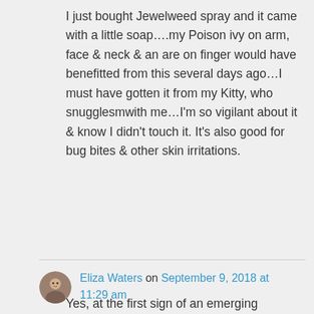I just bought Jewelweed spray and it came with a little soap....my Poison ivy on arm, face & neck & an are on finger would have benefitted from this several days ago...I must have gotten it from my Kitty, who snugglesmwith me...I'm so vigilant about it & know I didn't touch it. It's also good for bug bites & other skin irritations.
Eliza Waters on September 9, 2018 at 11:29 am
Yes, at the first sign of an emerging